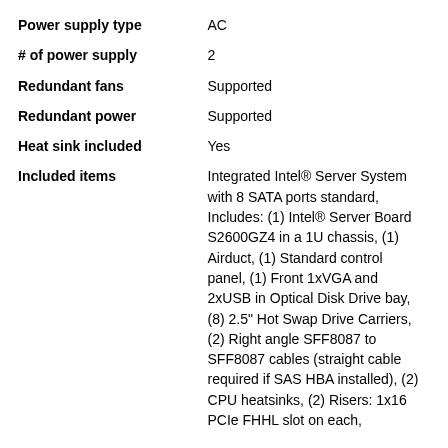| Attribute | Value |
| --- | --- |
| Power supply type | AC |
| # of power supply | 2 |
| Redundant fans | Supported |
| Redundant power | Supported |
| Heat sink included | Yes |
| Included items | Integrated Intel® Server System with 8 SATA ports standard, Includes: (1) Intel® Server Board S2600GZ4 in a 1U chassis, (1) Airduct, (1) Standard control panel, (1) Front 1xVGA and 2xUSB in Optical Disk Drive bay, (8) 2.5" Hot Swap Drive Carriers, (2) Right angle SFF8087 to SFF8087 cables (straight cable required if SAS HBA installed), (2) CPU heatsinks, (2) Risers: 1x16 PCIe FHHL slot on each, |